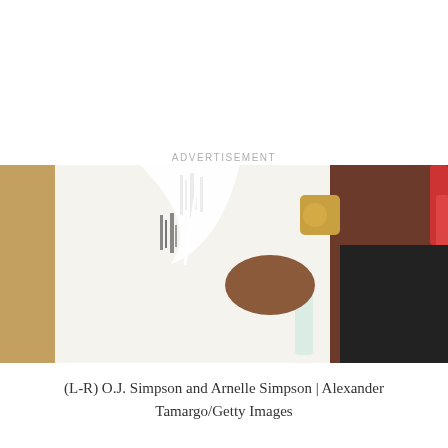[Figure (photo): Photo of (L-R) O.J. Simpson and Arnelle Simpson at an event, O.J. wearing a white patterned shirt, Arnelle in a dark outfit with a gold necklace and a glass bottle visible]
(L-R) O.J. Simpson and Arnelle Simpson | Alexander Tamargo/Getty Images
A look at Arnelle Simpson's earlier life
As Nicki Swift wrote, Arnelle is O.J.'s oldest